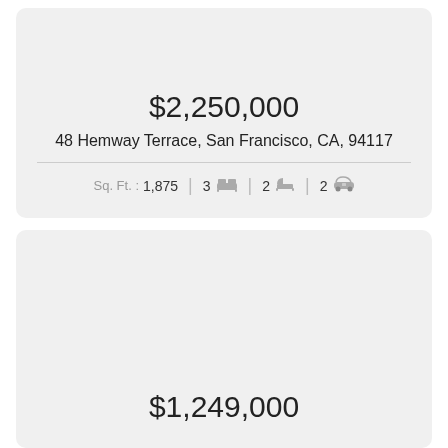$2,250,000
48 Hemway Terrace, San Francisco, CA, 94117
Sq. Ft. : 1,875  |  3 [bed]  |  2 [bath]  |  2 [car]
$1,249,000